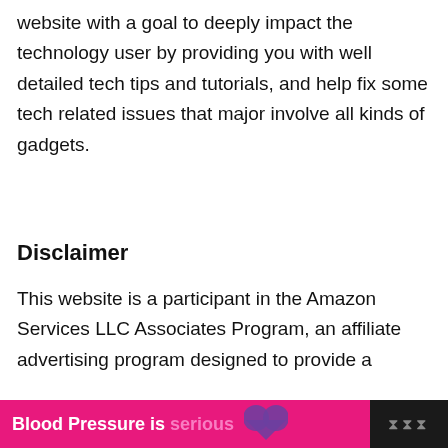website with a goal to deeply impact the technology user by providing you with well detailed tech tips and tutorials, and help fix some tech related issues that major involve all kinds of gadgets.
Disclaimer
This website is a participant in the Amazon Services LLC Associates Program, an affiliate advertising program designed to provide a
[Figure (other): Advertisement banner: pink background with text 'Blood Pressure is serious' and a purple heart icon, on a dark bar at the bottom of the page.]